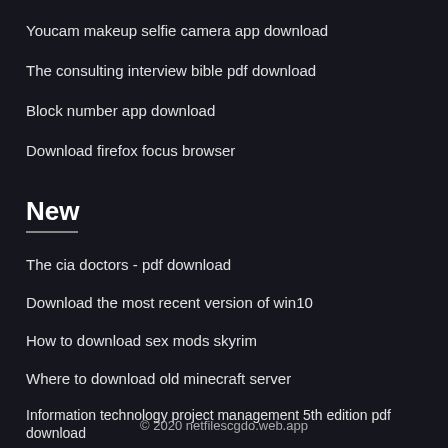Youcam makeup selfie camera app download
The consulting interview bible pdf download
Block number app download
Download firefox focus browser
New
The cia doctors - pdf download
Download the most recent version of win10
How to download sex mods skyrim
Where to download old minecraft server
Information technology project management 5th edition pdf download
© 2020 netfilescgdo.web.app